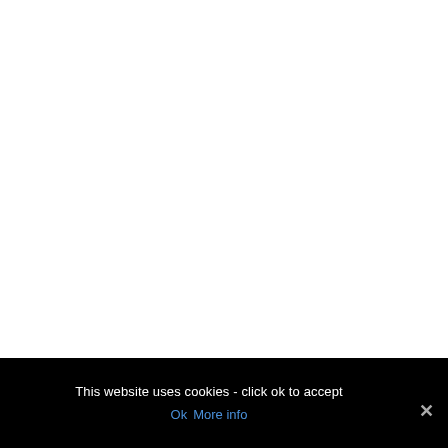This website uses cookies - click ok to accept
Ok   More info